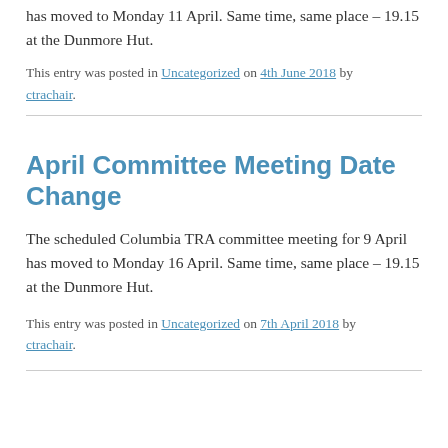has moved to Monday 11 April. Same time, same place – 19.15 at the Dunmore Hut.
This entry was posted in Uncategorized on 4th June 2018 by ctrachair.
April Committee Meeting Date Change
The scheduled Columbia TRA committee meeting for 9 April has moved to Monday 16 April. Same time, same place – 19.15 at the Dunmore Hut.
This entry was posted in Uncategorized on 7th April 2018 by ctrachair.